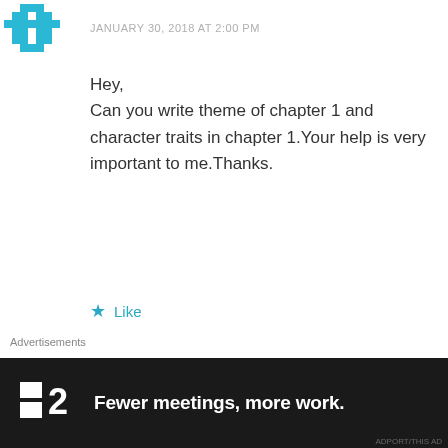[Figure (logo): Teal/cyan pixel art diamond/cross pattern logo in top left corner]
JANUARY 30, 2018 AT 2:00 PM
Hey,
Can you write theme of chapter 1 and character traits in chapter 1.Your help is very important to me.Thanks.
★ Like
REPLY
[Figure (photo): Small circular avatar photo of a young person with dark hair]
Ariv
Advertisements
[Figure (screenshot): Dark advertisement banner with logo P2 and text 'Fewer meetings, more work.']